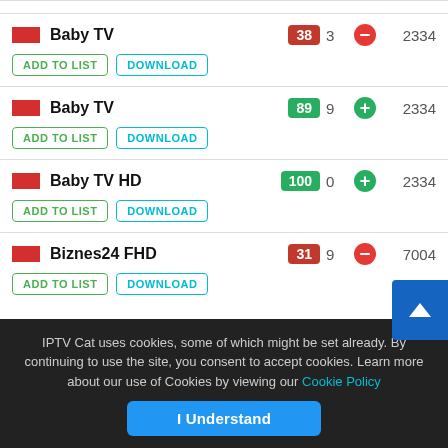| Channel | Score | Count | Status | Number |
| --- | --- | --- | --- | --- |
| Baby TV | 38 | 3 | minus | 2334 |
| Baby TV | 89 | 9 | plus | 2334 |
| Baby TV HD | 100 | 0 | plus | 2334 |
| Biznes24 FHD | 31 | 9 | minus | 7004 |
IPTV Cat uses cookies, some of which might be set already. By continuing to use the site, you consent to accept cookies. Learn more about our use of Cookies by viewing our Cookie Policy
I Understand